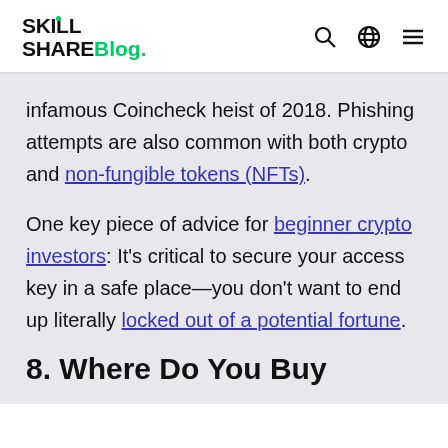SKILL SHARE Blog.
infamous Coincheck heist of 2018. Phishing attempts are also common with both crypto and non-fungible tokens (NFTs).
One key piece of advice for beginner crypto investors: It's critical to secure your access key in a safe place—you don't want to end up literally locked out of a potential fortune.
8. Where Do You Buy